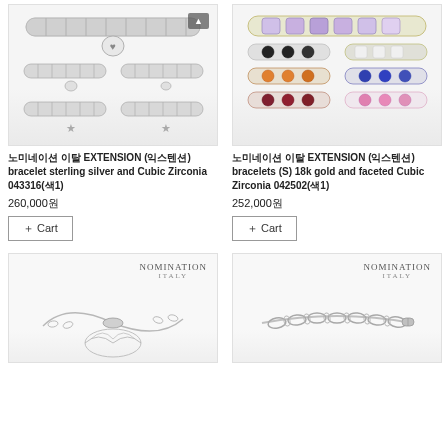[Figure (photo): Nomination EXTENSION sterling silver and Cubic Zirconia bracelet set showing multiple bracelets with charms]
[Figure (photo): Nomination EXTENSION 18k gold and faceted Cubic Zirconia bracelets in multiple colors]
노미네이션 이탈 EXTENSION (익스텐션) bracelet sterling silver and Cubic Zirconia 043316(색1)
260,000원
+ Cart
노미네이션 이탈 EXTENSION (익스텐션) bracelets (S) 18k gold and faceted Cubic Zirconia 042502(색1)
252,000원
+ Cart
[Figure (photo): Nomination Italy bracelet with angel wing charm on chain, silver]
[Figure (photo): Nomination Italy chain link bracelet, silver]